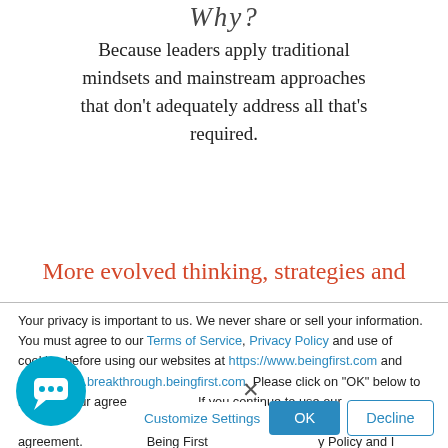Why?
Because leaders apply traditional mindsets and mainstream approaches that don't adequately address all that's required.
More evolved thinking, strategies and
Your privacy is important to us. We never share or sell your information. You must agree to our Terms of Service, Privacy Policy and use of cookies before using our websites at https://www.beingfirst.com and https://www.breakthrough.beingfirst.com. Please click on "OK" below to indicate your agreement. If you continue to use our the box, your your agreement. Being First y Policy and I agree to the use of cookies.
Ready to get started?
Customize Settings
OK
Decline